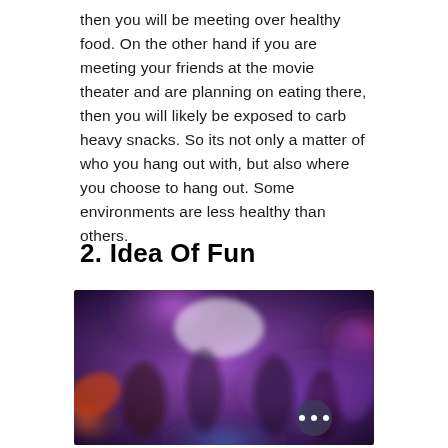then you will be meeting over healthy food. On the other hand if you are meeting your friends at the movie theater and are planning on eating there, then you will likely be exposed to carb heavy snacks. So its not only a matter of who you hang out with, but also where you choose to hang out. Some environments are less healthy than others.
2. Idea Of Fun
[Figure (photo): Blurry photo of people dancing in a nightclub with purple and blue neon lighting, with a dark circular overlay containing three white dots in the lower right area.]